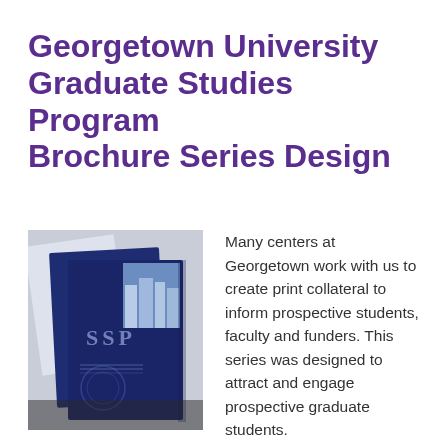Georgetown University Graduate Studies Program Brochure Series Design
[Figure (photo): Photo of Georgetown University SSP brochures — dark navy blue covers with 'SSP' text and university seal embossed, arranged at an angle showing multiple booklets]
Many centers at Georgetown work with us to create print collateral to inform prospective students, faculty and funders. This series was designed to attract and engage prospective graduate students.